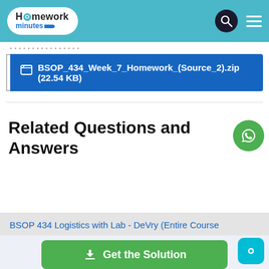Homework Minutes
BSOP_434_Week_7_Homework_(Source_2).zip (22.54 KB)
Related Questions and Answers
BSOP 434 Logistics with Lab - DeVry (Entire Course
Get the Solution
Great! We have found the solution of this question!